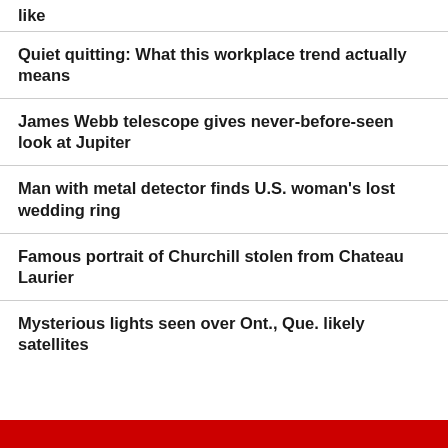like
Quiet quitting: What this workplace trend actually means
James Webb telescope gives never-before-seen look at Jupiter
Man with metal detector finds U.S. woman's lost wedding ring
Famous portrait of Churchill stolen from Chateau Laurier
Mysterious lights seen over Ont., Que. likely satellites